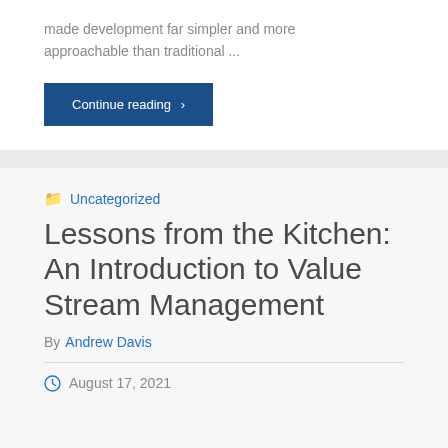made development far simpler and more approachable than traditional ...
Continue reading >
Uncategorized
Lessons from the Kitchen: An Introduction to Value Stream Management
By Andrew Davis
August 17, 2021